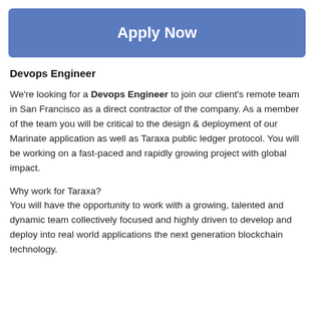Apply Now
Devops Engineer
We're looking for a Devops Engineer to join our client's remote team in San Francisco as a direct contractor of the company. As a member of the team you will be critical to the design & deployment of our Marinate application as well as Taraxa public ledger protocol. You will be working on a fast-paced and rapidly growing project with global impact.
Why work for Taraxa?
You will have the opportunity to work with a growing, talented and dynamic team collectively focused and highly driven to develop and deploy into real world applications the next generation blockchain technology.